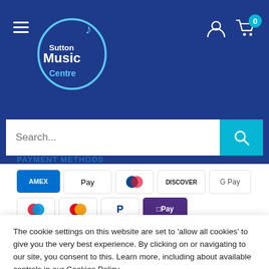[Figure (logo): Sutton Music Centre logo in oval with musical note]
PAYMENT METHODS
[Figure (infographic): Payment method icons: AMEX, Apple Pay, Diners, Discover, Google Pay, Maestro, Mastercard, PayPal, OPay, VISA]
Your payment information is processed securely. We do not
The cookie settings on this website are set to 'allow all cookies' to give you the very best experience. By clicking on or navigating to our site, you consent to this. Learn more, including about available controls in our Cookies Policy.
Accept